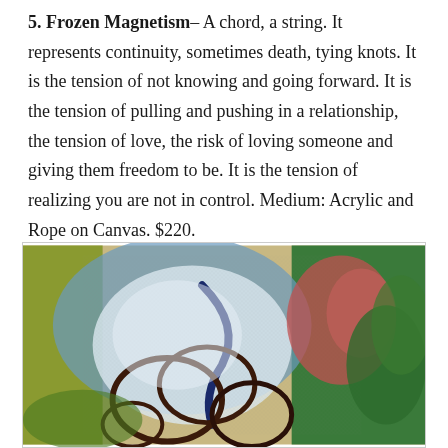5. Frozen Magnetism– A chord, a string. It represents continuity, sometimes death, tying knots. It is the tension of not knowing and going forward. It is the tension of pulling and pushing in a relationship, the tension of love, the risk of loving someone and giving them freedom to be. It is the tension of realizing you are not in control. Medium: Acrylic and Rope on Canvas. $220.
[Figure (photo): A painting with acrylic and rope on canvas showing abstract swirling forms with rope-like circular shapes in the foreground on a textured background of blue, white, green, and red/pink colors suggesting organic forms.]